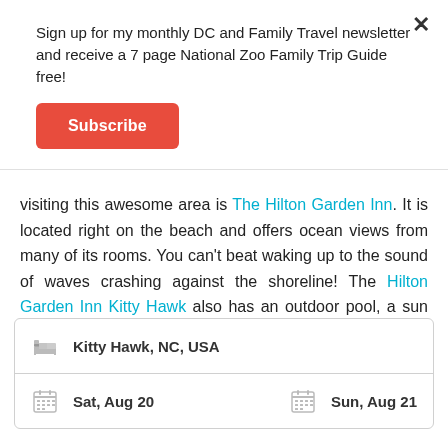Sign up for my monthly DC and Family Travel newsletter and receive a 7 page National Zoo Family Trip Guide free!
Subscribe
visiting this awesome area is The Hilton Garden Inn. It is located right on the beach and offers ocean views from many of its rooms. You can't beat waking up to the sound of waves crashing against the shoreline! The Hilton Garden Inn Kitty Hawk also has an outdoor pool, a sun deck, and direct access to the beach.
| Kitty Hawk, NC, USA |
| Sat, Aug 20 | Sun, Aug 21 |